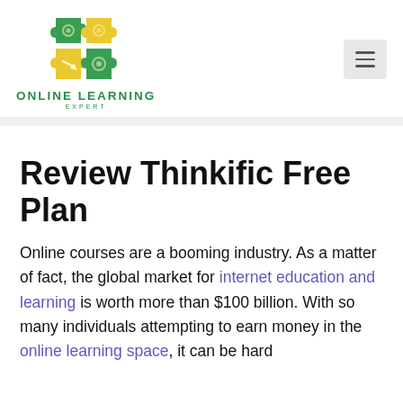[Figure (logo): Online Learning Expert logo with puzzle pieces in green and yellow, and text 'ONLINE LEARNING EXPERT' below]
Review Thinkific Free Plan
Online courses are a booming industry. As a matter of fact, the global market for internet education and learning is worth more than $100 billion. With so many individuals attempting to earn money in the online learning space, it can be hard